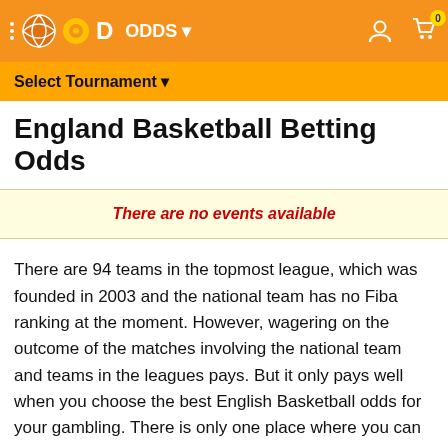ODDS ▾
Select Tournament ▾
England Basketball Betting Odds
There are no events available
There are 94 teams in the topmost league, which was founded in 2003 and the national team has no Fiba ranking at the moment. However, wagering on the outcome of the matches involving the national team and teams in the leagues pays. But it only pays well when you choose the best English Basketball odds for your gambling. There is only one place where you can get a full scale comparison of the best English betting odds and that is at OddsDigger. Here, match odds for all types of markets including teaser, multiple, half and quarter, and others in the league and national teams are compared